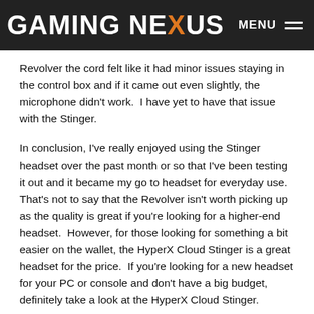GAMING NEXUS | MENU
Revolver the cord felt like it had minor issues staying in the control box and if it came out even slightly, the microphone didn't work.  I have yet to have that issue with the Stinger.
In conclusion, I've really enjoyed using the Stinger headset over the past month or so that I've been testing it out and it became my go to headset for everyday use.  That's not to say that the Revolver isn't worth picking up as the quality is great if you're looking for a higher-end headset.  However, for those looking for something a bit easier on the wallet, the HyperX Cloud Stinger is a great headset for the price.  If you're looking for a new headset for your PC or console and don't have a big budget, definitely take a look at the HyperX Cloud Stinger.
The HyperX Cloud Stinger is a solid headset for the price. Like the Revolver you can use the headset with any device